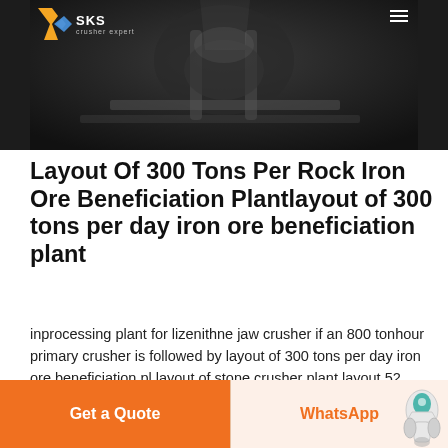[Figure (photo): Dark industrial/machinery background photo showing metallic equipment, with SKS Crusher Expert logo overlay in top-left and hamburger menu icon top-right]
Layout Of 300 Tons Per Rock Iron Ore Beneficiation Plantlayout of 300 tons per day iron ore beneficiation plant
inprocessing plant for lizenithne jaw crusher if an 800 tonhour primary crusher is followed by layout of 300 tons per day iron ore beneficiation pl layout of stone crusher plant layout 52 Grinding Mill Chat With Sales 300 tph chrome ore beneficiation plant ubango 300 tph chrome ore beneficiation plant 300 tph chrome ore beneficiation plant